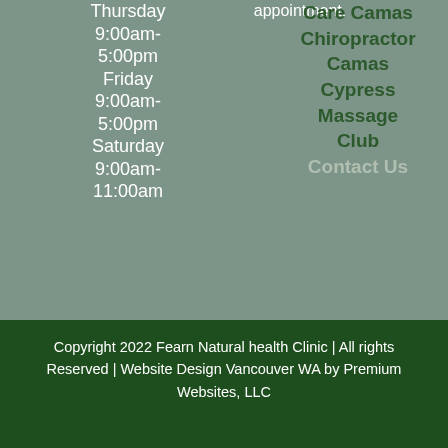Thursday 9:00am-5:00pm
Friday 9:00am-5:00pm
Saturday 9:00am-11:00am
appointment.
Care Camas Chiropractor
Camas
Cypress Massage Club
Contact Us
Copyright 2022 Fearn Natural health Clinic | All rights Reserved | Website Design Vancouver WA by Premium Websites, LLC